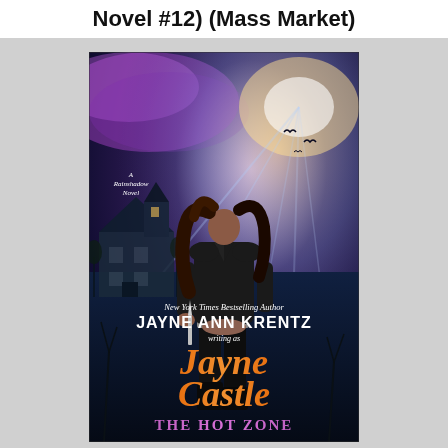Novel #12) (Mass Market)
[Figure (photo): Book cover for 'The Hot Zone' by Jayne Ann Krentz writing as Jayne Castle. A Rainshadow Novel. New York Times Bestselling Author. Shows a woman in a black leather jacket holding a knife, standing in front of a haunted-looking house against a dramatic purple and blue sky with light rays.]